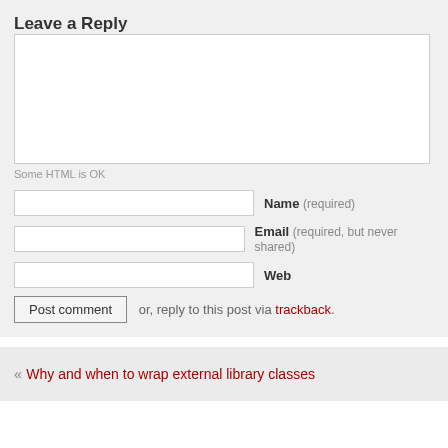Leave a Reply
Some HTML is OK
Name (required)
Email (required, but never shared)
Web
Post comment or, reply to this post via trackback.
« Why and when to wrap external library classes